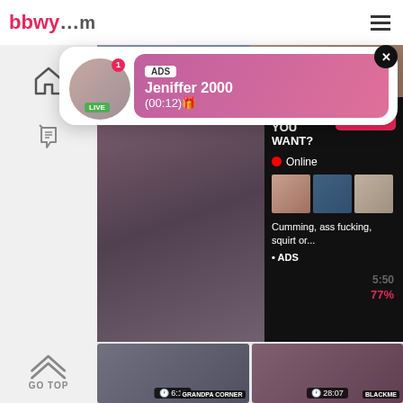bbwy...com
[Figure (screenshot): Ad popup notification showing profile photo with LIVE badge, pink gradient background with ADS label, name Jeniffer 2000, time (00:12), and close button]
[Figure (screenshot): Large video ad overlay with text WHAT DO YOU WANT? WATCH button, Online indicator, mini thumbnails, and text Cumming, ass fucking, squirt or... ADS]
[Figure (screenshot): Bottom video thumbnails with duration 6:15 labeled GRANDPA CORNER and 28:07 labeled BLACKME]